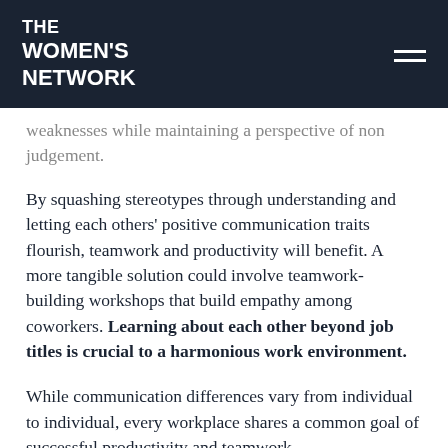THE WOMEN'S NETWORK
weaknesses while maintaining a perspective of non judgement.
By squashing stereotypes through understanding and letting each others' positive communication traits flourish, teamwork and productivity will benefit. A more tangible solution could involve teamwork-building workshops that build empathy among coworkers. Learning about each other beyond job titles is crucial to a harmonious work environment.
While communication differences vary from individual to individual, every workplace shares a common goal of successful productivity and teamwork.
Overcoming communication barriers through a focus on understanding each other and the stereotypes we